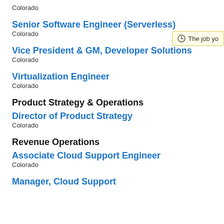Colorado
Senior Software Engineer (Serverless)
Colorado
Vice President & GM, Developer Solutions
Colorado
Virtualization Engineer
Colorado
Product Strategy & Operations
Director of Product Strategy
Colorado
Revenue Operations
Associate Cloud Support Engineer
Colorado
Manager, Cloud Support